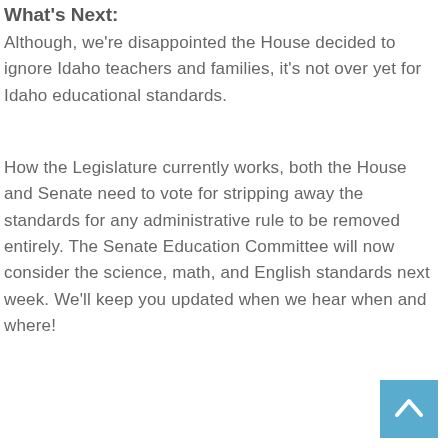What's Next:
Although, we're disappointed the House decided to ignore Idaho teachers and families, it's not over yet for Idaho educational standards.
How the Legislature currently works, both the House and Senate need to vote for stripping away the standards for any administrative rule to be removed entirely. The Senate Education Committee will now consider the science, math, and English standards next week. We'll keep you updated when we hear when and where!